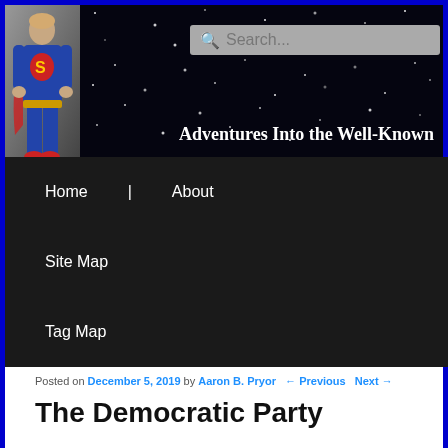Adventures Into the Well-Known
Home
About
Site Map
Tag Map
Posted on December 5, 2019 by Aaron B. Pryor   ← Previous   Next →
The Democratic Party
The democratic filibuster landmark in Washington, dc…